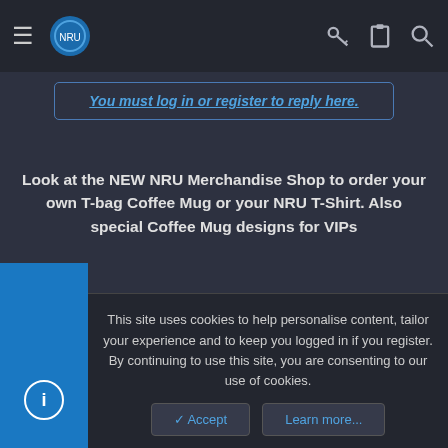NRU forum navigation bar
You must log in or register to reply here.
Look at the NEW NRU Merchandise Shop to order your own T-bag Coffee Mug or your NRU T-Shirt. Also special Coffee Mug designs for VIPs
Users who are viewing this thread
Total: 2 (members: 0, guests: 2)
Share:
This site uses cookies to help personalise content, tailor your experience and to keep you logged in if you register.
By continuing to use this site, you are consenting to our use of cookies.